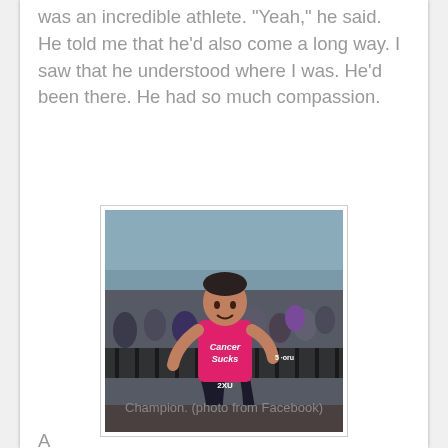was an incredible athlete. "Yeah," he said. He told me that he'd also come a long way. I saw that he understood where I was. He'd been there. He had so much compassion.
[Figure (photo): A male athlete wearing a pink 'Cancer Sucks' tank top and 2XU shorts running through a crowded race event area near water. He appears to be mid-stride with spectators visible behind barriers in the background.]
Champion. (photo from Facebook)
A